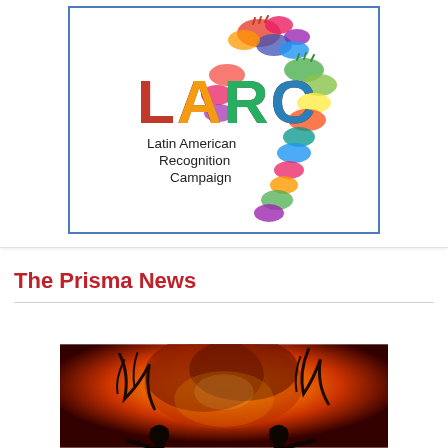[Figure (logo): LARC Latin American Recognition Campaign logo — colorful handprints arranged in the shape of Latin America, with 'LARC' in large text and 'Latin American Recognition Campaign' below, inside a blue-bordered white box]
The Prisma News
[Figure (photo): Dramatic photograph of firefighters silhouetted against a large orange and red fireball explosion, with dark tree branches visible against the fiery background]